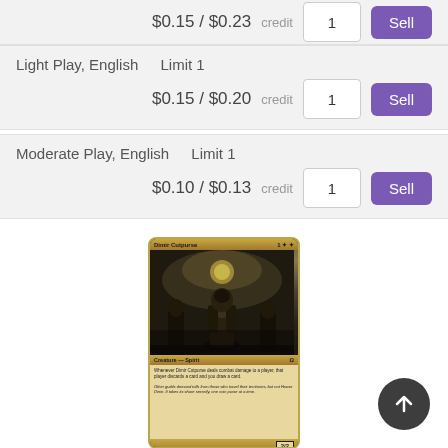$0.15 / $0.23 credit  1  [Sell button]
Light Play, English    Limit 1
$0.15 / $0.20 credit
Moderate Play, English    Limit 1
$0.10 / $0.13 credit
[Figure (illustration): Magic: The Gathering card 'Dimir Cutpurse' showing a hooded figure, Creature - Spirit 2/2]
Dimir Cutpurse